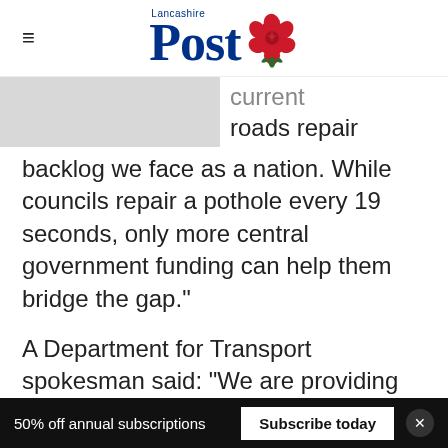Lancashire Post
[Figure (photo): Grey placeholder image block on left side]
current roads repair backlog we face as a nation. While councils repair a pothole every 19 seconds, only more central government funding can help them bridge the gap."
A Department for Transport spokesman said: "We are providing councils in England more than £7.1 billion over six years until 2021 to upgrade roads and repair potholes.
50% off annual subscriptions  Subscribe today  ×